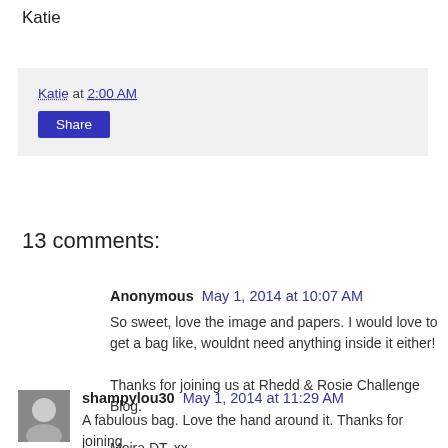Katie
Katie at 2:00 AM
Share
13 comments:
Anonymous  May 1, 2014 at 10:07 AM
So sweet, love the image and papers. I would love to get a bag like, wouldnt need anything inside it either!

Thanks for joining us at Rhedd & Rosie Challenge Blog.

Moira DT. xx
Reply
shampylou30  May 1, 2014 at 11:29 AM
A fabulous bag. Love the hand around it. Thanks for joining